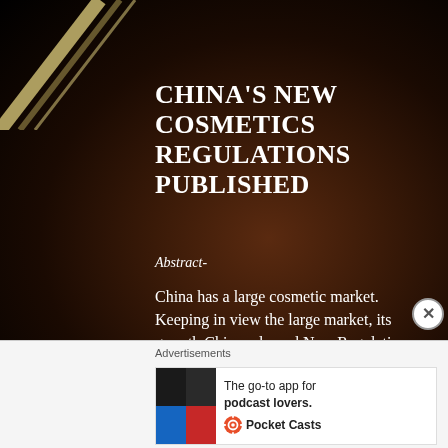CHINA'S NEW COSMETICS REGULATIONS PUBLISHED
Abstract-
China has a large cosmetic market. Keeping in view the large market, its growth China released New Regulations on Supervision and Administration of Cosmetics to regulate
[Figure (screenshot): Advertisement banner for Pocket Casts: 'The go-to app for podcast lovers.' with colorful app icon]
Advertisements